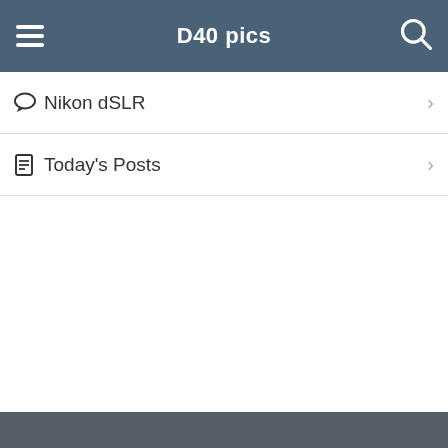D40 pics
Nikon dSLR
Today's Posts